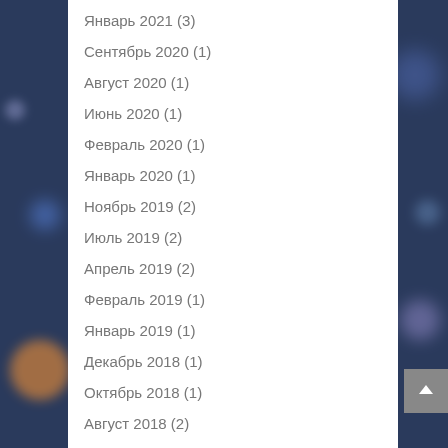Январь 2021 (3)
Сентябрь 2020 (1)
Август 2020 (1)
Июнь 2020 (1)
Февраль 2020 (1)
Январь 2020 (1)
Ноябрь 2019 (2)
Июль 2019 (2)
Апрель 2019 (2)
Февраль 2019 (1)
Январь 2019 (1)
Декабрь 2018 (1)
Октябрь 2018 (1)
Август 2018 (2)
Июль 2018 (2)